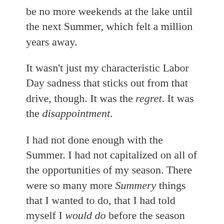be no more weekends at the lake until the next Summer, which felt a million years away.
It wasn't just my characteristic Labor Day sadness that sticks out from that drive, though. It was the regret. It was the disappointment.
I had not done enough with the Summer. I had not capitalized on all of the opportunities of my season. There were so many more Summery things that I wanted to do, that I had told myself I would do before the season had started.
More beach writings. More trail runs. More bike rides. More campfires. More s'mores. More photos. More nature walks. More kayaking.   More tennis. More driveway basketball. More stargazing. More playgrounds. More hammock time. More roadtrips. More boat rides.
That is the stuff of Summer for me. And in that car on the